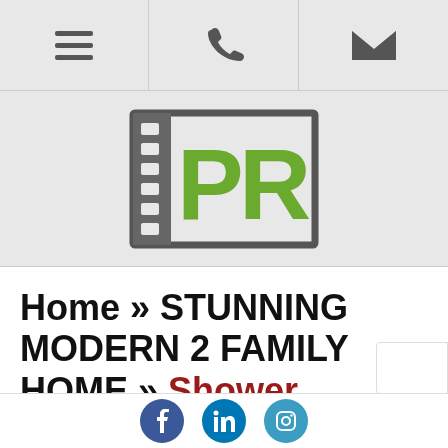[Navigation bar with hamburger menu, phone icon, and email icon]
[Figure (logo): PR logo: dark gray film-strip style border with green PR letters inside a rectangular frame]
Home » STUNNING MODERN 2 FAMILY HOME » Shower
Shower
Social icons: Facebook, LinkedIn, Instagram